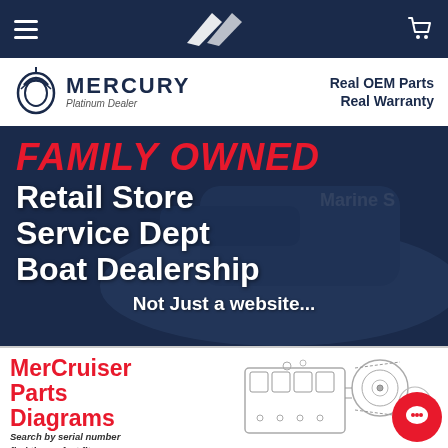Navigation bar with hamburger menu, Mercury logo, and cart icon
[Figure (logo): Mercury Marine Platinum Dealer logo with tagline 'Real OEM Parts Real Warranty']
[Figure (infographic): Hero banner with dark navy background showing boat imagery. Text: 'Family Owned / Retail Store / Service Dept / Boat Dealership / Not Just a website...']
[Figure (infographic): MerCruiser Parts Diagrams section with engine schematic diagram and red chat bubble icon. Tagline: 'Search by serial number find the perfect fit.']